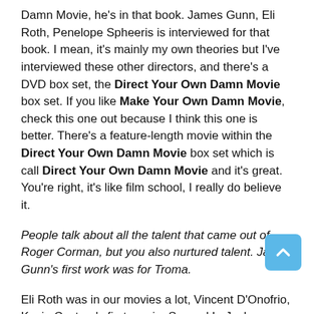Damn Movie, he's in that book. James Gunn, Eli Roth, Penelope Spheeris is interviewed for that book. I mean, it's mainly my own theories but I've interviewed these other directors, and there's a DVD box set, the Direct Your Own Damn Movie box set. If you like Make Your Own Damn Movie, check this one out because I think this one is better. There's a feature-length movie within the Direct Your Own Damn Movie box set which is call Direct Your Own Damn Movie and it's great. You're right, it's like film school, I really do believe it.
People talk about all the talent that came out of Roger Corman, but you also nurtured talent. James Gunn's first work was for Troma.
Eli Roth was in our movies a lot, Vincent D'Onofrio, Kevin Costner's first movie, Samuel L. Jackson. We